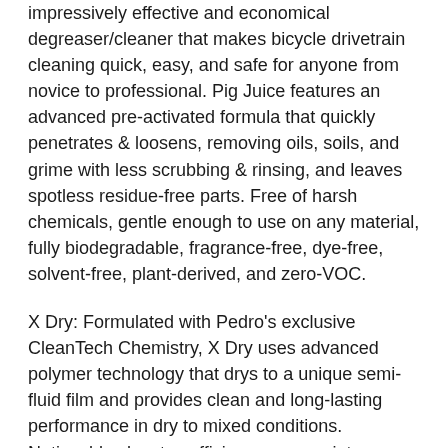impressively effective and economical degreaser/cleaner that makes bicycle drivetrain cleaning quick, easy, and safe for anyone from novice to professional. Pig Juice features an advanced pre-activated formula that quickly penetrates & loosens, removing oils, soils, and grime with less scrubbing & rinsing, and leaves spotless residue-free parts. Free of harsh chemicals, gentle enough to use on any material, fully biodegradable, fragrance-free, dye-free, solvent-free, plant-derived, and zero-VOC.
X Dry: Formulated with Pedro's exclusive CleanTech Chemistry, X Dry uses advanced polymer technology that drys to a unique semi-fluid film and provides clean and long-lasting performance in dry to mixed conditions. Noticeably elevates efficiency, runs quiet, reduces wear, and repels water and grime.
Gear Brush: Perfect for degreasing cassette, derailleur pulleys, and chainrings.